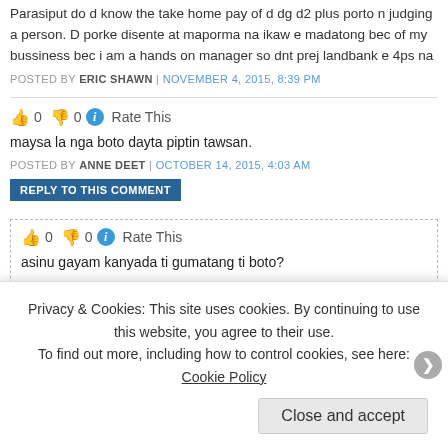Parasiput do d know the take home pay of d dg d2 plus porto n... judging a person. D porke disente at maporma na ikaw e madatong... bec of my bussiness bec i am a hands on manager so dnt prej... landbank e 4ps na
POSTED BY ERIC SHAWN | NOVEMBER 4, 2015, 8:39 PM
👍 0 👎 0 ℹ Rate This
maysa la nga boto dayta piptin tawsan.
POSTED BY ANNE DEET | OCTOBER 14, 2015, 4:03 AM
REPLY TO THIS COMMENT
👍 0 👎 0 ℹ Rate This
asinu gayam kanyada ti gumatang ti boto?
POSTED BY ANNE DEET | OCTOBER 14, 2015, 4:06 AM
Privacy & Cookies: This site uses cookies. By continuing to use this website, you agree to their use. To find out more, including how to control cookies, see here: Cookie Policy
Close and accept